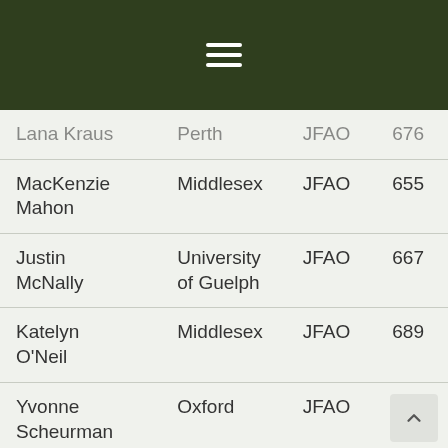≡
| Name | Location | Org | Score |
| --- | --- | --- | --- |
| Lana Kraus | Perth | JFAO | 676 |
| MacKenzie Mahon | Middlesex | JFAO | 655 |
| Justin McNally | University of Guelph | JFAO | 667 |
| Katelyn O'Neil | Middlesex | JFAO | 689 |
| Yvonne Scheurman | Oxford | JFAO | 667 |
| Cassandra Werry | Perth | JFAO | ... |